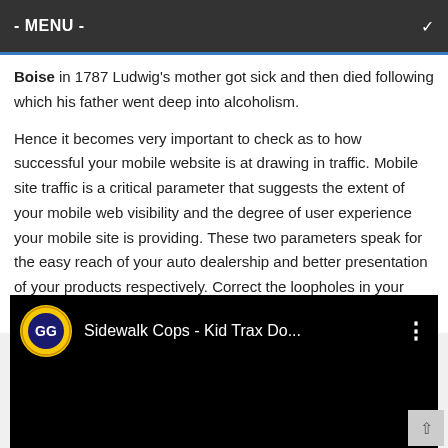- MENU -
Boise in 1787 Ludwig's mother got sick and then died following which his father went deep into alcoholism.
Hence it becomes very important to check as to how successful your mobile website is at drawing in traffic. Mobile site traffic is a critical parameter that suggests the extent of your mobile web visibility and the degree of user experience your mobile site is providing. These two parameters speak for the easy reach of your auto dealership and better presentation of your products respectively. Correct the loopholes in your marketing strategy Analyzing various metrics will help
[Figure (screenshot): YouTube video embed showing 'Sidewalk Cops - Kid Trax Do...' with a circular logo on the left and three-dot menu icon on the right, dark/black background.]